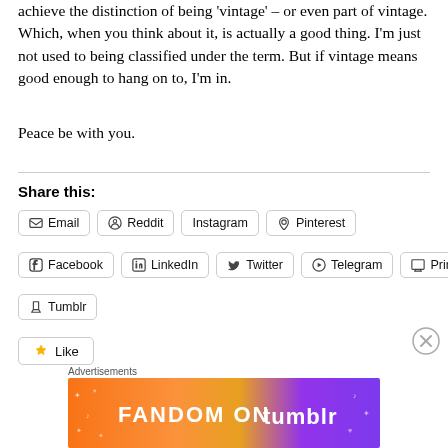achieve the distinction of being 'vintage' – or even part of vintage. Which, when you think about it, is actually a good thing. I'm just not used to being classified under the term. But if vintage means good enough to hang on to, I'm in.
Peace be with you.
Share this:
Email | Reddit | Instagram | Pinterest | Facebook | LinkedIn | Twitter | Telegram | Print | Tumblr
[Figure (other): Like button]
Advertisements
[Figure (other): Fandom on Tumblr advertisement banner with colorful gradient background]